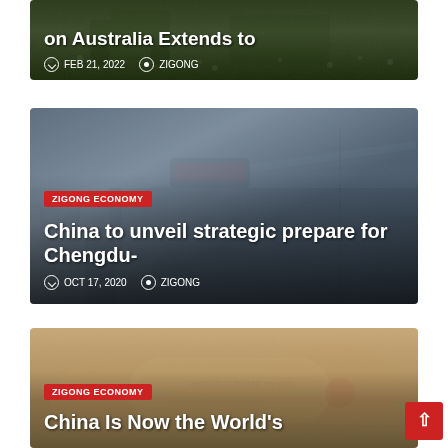[Figure (photo): Dark image of a cotton or agricultural field with machinery, partially visible article card with title about Australia]
on Australia Extends to
FEB 21, 2022   ZIGONG
[Figure (photo): Infrastructure photo showing a high-speed rail or monorail on an elevated track, city buildings and power towers visible in background]
ZIGONG ECONOMY
China to unveil strategic prepare for Chengdu-
OCT 17, 2020   ZIGONG
[Figure (photo): Close-up photo of hands holding rolled Chinese Renminbi (yuan) banknotes with text ZHONGGUO RENMIN YINHANG visible]
ZIGONG ECONOMY
China Is Now the World's